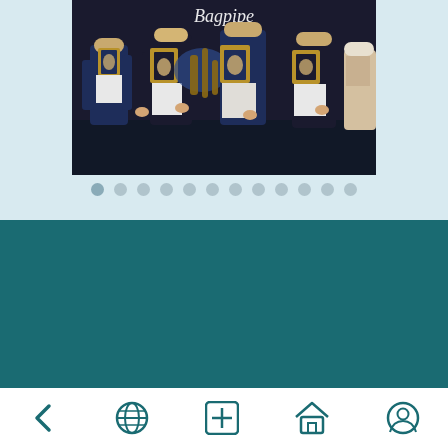[Figure (photo): Photograph of musicians in traditional folk costumes playing bagpipes, wearing black and gold ornate vests over white shirts. Partial title text visible at top in italic script.]
[Figure (infographic): Row of 12 pagination dots, first dot slightly darker/active, rest in light grey-blue, indicating slideshow position.]
About    Map    Contact
[Figure (logo): Google Play store badge: black rounded rectangle with GET IT ON Google Play text and the Google Play triangle logo in red, yellow, green, blue.]
[Figure (infographic): Instagram icon (rounded square camera outline) and Twitter bird icon, both white on teal background.]
Navigation bar with back arrow, globe, plus, home, and person/account icons in teal on white background.